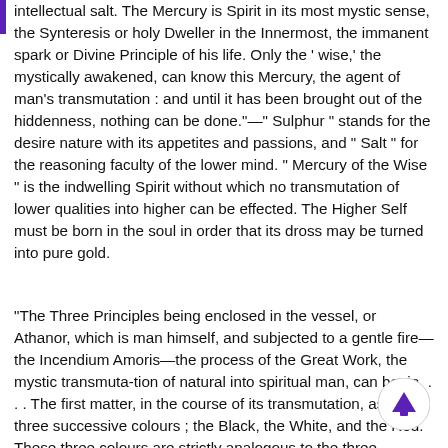intellectual salt. The Mercury is Spirit in its most mystic sense, the Synteresis or holy Dweller in the Innermost, the immanent spark or Divine Principle of his life. Only the 'wise,' the mystically awakened, can know this Mercury, the agent of man's transmutation : and until it has been brought out of the hiddenness, nothing can be done."—" Sulphur " stands for the desire nature with its appetites and passions, and " Salt " for the reasoning faculty of the lower mind. " Mercury of the Wise " is the indwelling Spirit without which no transmutation of lower qualities into higher can be effected. The Higher Self must be born in the soul in order that its dross may be turned into pure gold.
“The Three Principles being enclosed in the vessel, or Athanor, which is man himself, and subjected to a gentle fire—the Incendium Amoris—the process of the Great Work, the mystic transmuta-tion of natural into spiritual man, can begin. . . . The first matter, in the course of its transmutation, assumes three successive colours ; the Black, the White, and the Red. These three colours are strictly analogous to the three traditional stages of the Mystic Way : Purgation, Illumination, Union."—Ibid. The